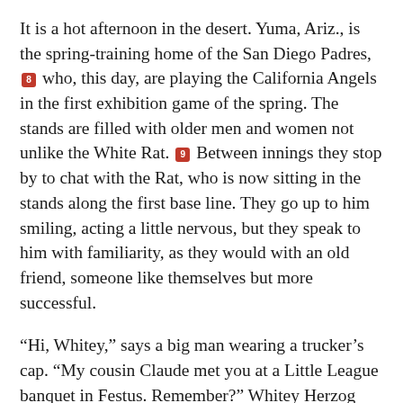It is a hot afternoon in the desert. Yuma, Ariz., is the spring-training home of the San Diego Padres, [8] who, this day, are playing the California Angels in the first exhibition game of the spring. The stands are filled with older men and women not unlike the White Rat. [9] Between innings they stop by to chat with the Rat, who is now sitting in the stands along the first base line. They go up to him smiling, acting a little nervous, but they speak to him with familiarity, as they would with an old friend, someone like themselves but more successful.
“Hi, Whitey,” says a big man wearing a trucker’s cap. “My cousin Claude met you at a Little League banquet in Festus. Remember?” Whitey Herzog looks up into the brilliant sun and shades his eyes with the flat of his hand. “Sure do,” he says, but he doesn’t. “Festus, south of St. Louis.”